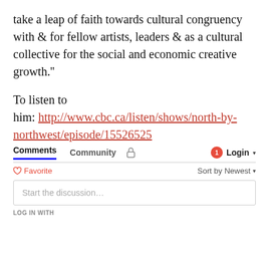take a leap of faith towards cultural congruency with & for fellow artists, leaders & as a cultural collective for the social and economic creative growth.''
To listen to him: http://www.cbc.ca/listen/shows/north-by-northwest/episode/15526525
Comments  Community  🔒  1  Login ▾
♡ Favorite    Sort by Newest ▾
Start the discussion…
LOG IN WITH